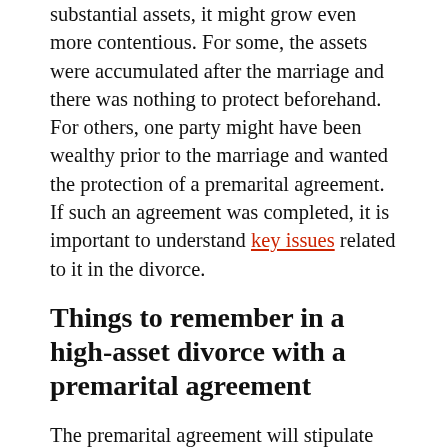substantial assets, it might grow even more contentious. For some, the assets were accumulated after the marriage and there was nothing to protect beforehand. For others, one party might have been wealthy prior to the marriage and wanted the protection of a premarital agreement. If such an agreement was completed, it is important to understand key issues related to it in the divorce.
Things to remember in a high-asset divorce with a premarital agreement
The premarital agreement will stipulate how certain issues will be addressed if the couple gets a divorce. That will detail how property is split, if there is spousal support and how much it will be, estate planning considerations and more. Child support